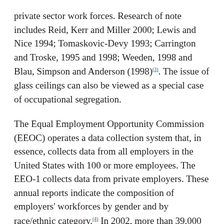private sector work forces. Research of note includes Reid, Kerr and Miller 2000; Lewis and Nice 1994; Tomaskovic-Devy 1993; Carrington and Troske, 1995 and 1998; Weeden, 1998 and Blau, Simpson and Anderson (1998)(3). The issue of glass ceilings can also be viewed as a special case of occupational segregation.
The Equal Employment Opportunity Commission (EEOC) operates a data collection system that, in essence, collects data from all employers in the United States with 100 or more employees. The EEO-1 collects data from private employers. These annual reports indicate the composition of employers' workforces by gender and by race/ethnic category.(4) In 2002, more than 39,000 employers submitted, as appropriate, individual establishment and headquarters reports for more than 225,000 reporting establishments with about 52 million employees. The EEO-1 collects data on nine major job